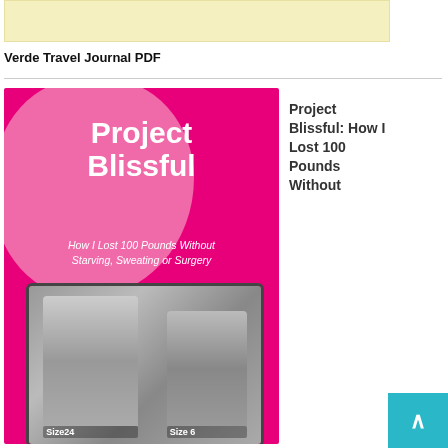[Figure (other): Advertisement banner with light yellow background]
Verde Travel Journal PDF
[Figure (photo): Book cover for 'Project Blissful: How I Lost 100 Pounds Without Starving, Sweating or Surgery' with pink background and before/after photos labeled Size24 and Size 6]
Project Blissful: How I Lost 100 Pounds Without